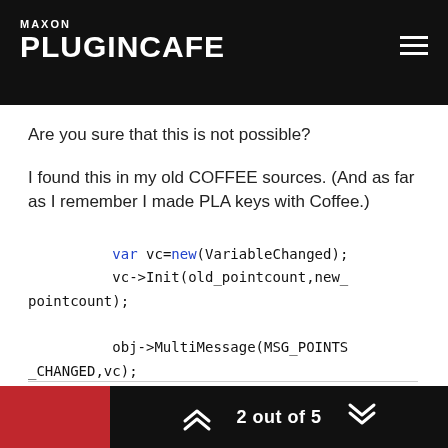MAXON PLUGINCAFE
Are you sure that this is not possible?
I found this in my old COFFEE sources. (And as far as I remember I made PLA keys with Coffee.)
var vc=new(VariableChanged);
vc->Init(old_pointcount,new_pointcount);
obj->MultiMessage(MSG_POINTS_CHANGED,vc);
2 out of 5